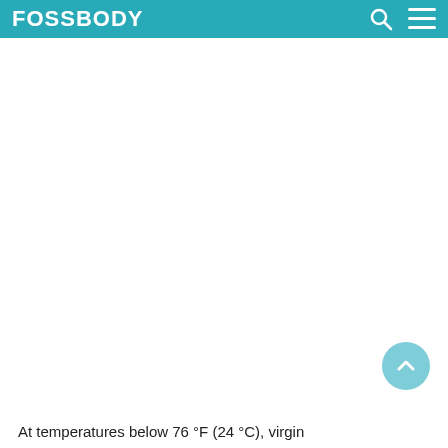FOSSBODY
[Figure (other): Large white blank content area below the teal header bar]
[Figure (other): Teal circular scroll-to-top button with upward chevron arrow, positioned bottom right]
At temperatures below 76 °F (24 °C), virgin